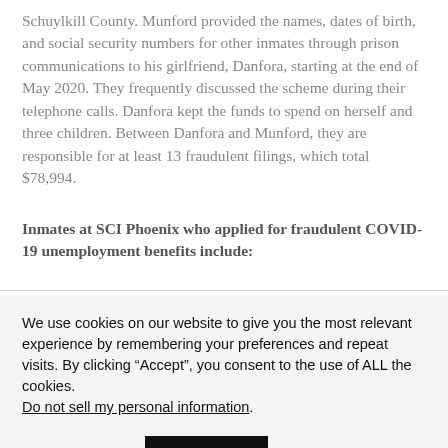Schuylkill County. Munford provided the names, dates of birth, and social security numbers for other inmates through prison communications to his girlfriend, Danfora, starting at the end of May 2020. They frequently discussed the scheme during their telephone calls. Danfora kept the funds to spend on herself and three children. Between Danfora and Munford, they are responsible for at least 13 fraudulent filings, which total $78,994.
Inmates at SCI Phoenix who applied for fraudulent COVID-19 unemployment benefits include:
We use cookies on our website to give you the most relevant experience by remembering your preferences and repeat visits. By clicking “Accept”, you consent to the use of ALL the cookies.
Do not sell my personal information.
Cookie settings   ACCEPT